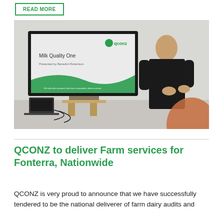READ MORE
[Figure (photo): A presenter standing in front of a screen showing a QCONZ 'Milk Quality One' presentation slide, with an audience member visible in the foreground.]
QCONZ to deliver Farm services for Fonterra, Nationwide
QCONZ is very proud to announce that we have successfully tendered to be the national deliverer of farm dairy audits and